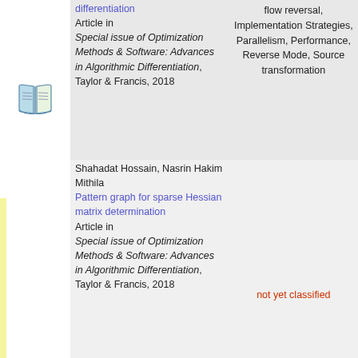differentiation Article in Special issue of Optimization Methods & Software: Advances in Algorithmic Differentiation, Taylor & Francis, 2018
flow reversal, Implementation Strategies, Parallelism, Performance, Reverse Mode, Source transformation
[Figure (illustration): Open book icon with blue left page and green right page]
Shahadat Hossain, Nasrin Hakim Mithila Pattern graph for sparse Hessian matrix determination Article in Special issue of Optimization Methods & Software: Advances in Algorithmic Differentiation, Taylor & Francis, 2018
not yet classified